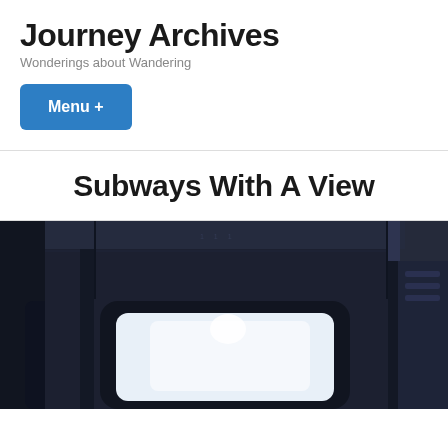Journey Archives
Wonderings about Wandering
Menu +
Subways With A View
[Figure (photo): Interior view of a subway train car showing dark navy/black wall panels, a rounded rectangular window with bright white light visible outside, and structural elements of the train interior. The image is cropped showing the upper portion of the train interior.]